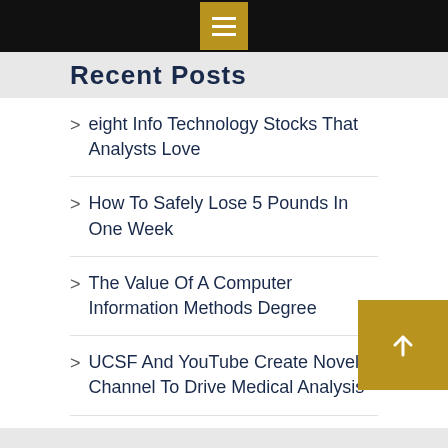Recent Posts
eight Info Technology Stocks That Analysts Love
How To Safely Lose 5 Pounds In One Week
The Value Of A Computer Information Methods Degree
UCSF And YouTube Create Novel Channel To Drive Medical Analysis
Development Articles From AMAZINES.COM